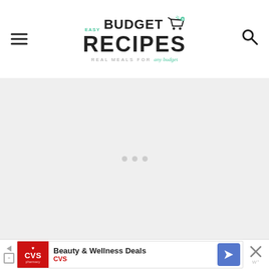Easy Budget Recipes - Real Meals for any budget
[Figure (other): Loading/placeholder content area with three gray dots indicating loading state on a light gray background]
[Figure (screenshot): CVS Pharmacy advertisement banner: Beauty & Wellness Deals - CVS, with CVS logo, navigation arrow icon, close button]